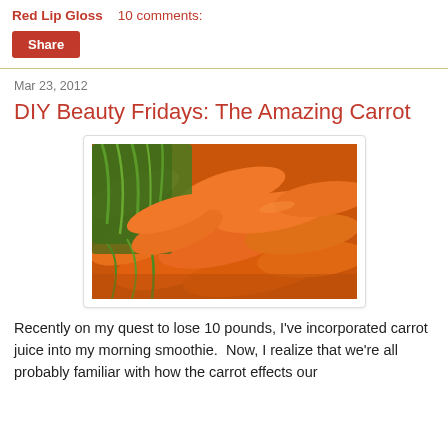Red Lip Gloss    10 comments:
Share
Mar 23, 2012
DIY Beauty Fridays: The Amazing Carrot
[Figure (photo): A photo of a large pile of fresh orange carrots with green stems, viewed from above.]
Recently on my quest to lose 10 pounds, I've incorporated carrot juice into my morning smoothie.  Now, I realize that we're all probably familiar with how the carrot effects our